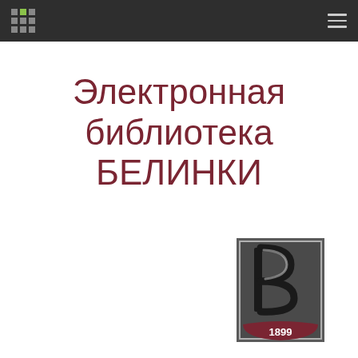Navigation bar with grid logo and hamburger menu
Электронная библиотека БЕЛИНКИ
[Figure (logo): Belinka library emblem with stylized letter B and year 1899 on dark background]